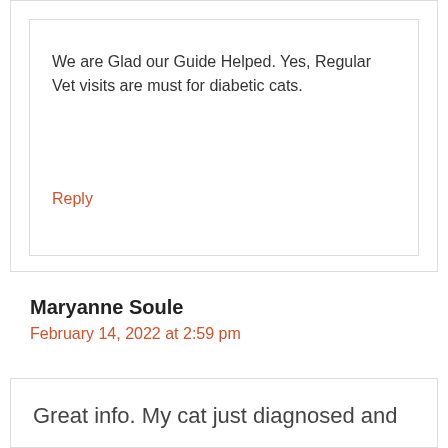We are Glad our Guide Helped. Yes, Regular Vet visits are must for diabetic cats.
Reply
Maryanne Soule
February 14, 2022 at 2:59 pm
Great info. My cat just diagnosed and